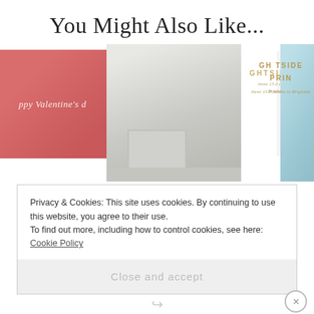You Might Also Like...
[Figure (photo): Four images in a row: a Valentine's Day card with pink/red background, a white hallway/entryway interior photo, a Brighside Prints promotional graphic with gold text 'GHSIDE PRIN' and italic subtitle, and a photo of hanging ornaments/decorations.]
Home / Products I Love / Valentine's Day Mini Cards from Brighside Prints
Privacy & Cookies: This site uses cookies. By continuing to use this website, you agree to their use.
To find out more, including how to control cookies, see here: Cookie Policy
Close and accept